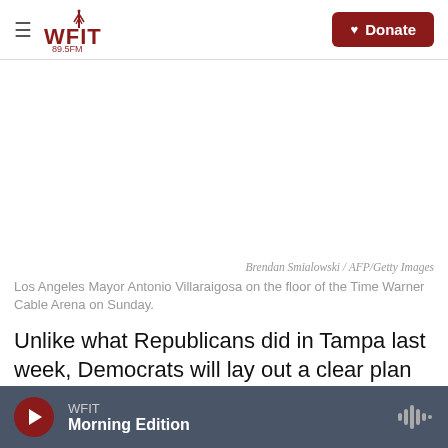WFIT 89.5FM | Donate
[Figure (photo): Blank/white image area placeholder for a photo of Los Angeles Mayor Antonio Villaraigosa on the floor of the Time Warner Cable Arena]
Brendan Smialowski / AFP/Getty Images
Los Angeles Mayor Antonio Villaraigosa on the floor of the Time Warner Cable Arena on Sunday.
Unlike what Republicans did in Tampa last week, Democrats will lay out a clear plan to get the country back on sound footing, Los Angeles Mayor
WFIT Morning Edition